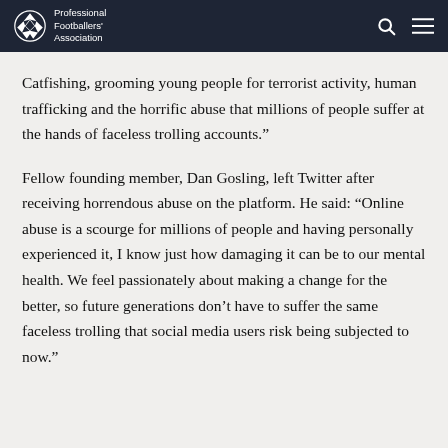Professional Footballers' Association
Catfishing, grooming young people for terrorist activity, human trafficking and the horrific abuse that millions of people suffer at the hands of faceless trolling accounts."
Fellow founding member, Dan Gosling, left Twitter after receiving horrendous abuse on the platform. He said: “Online abuse is a scourge for millions of people and having personally experienced it, I know just how damaging it can be to our mental health. We feel passionately about making a change for the better, so future generations don’t have to suffer the same faceless trolling that social media users risk being subjected to now."